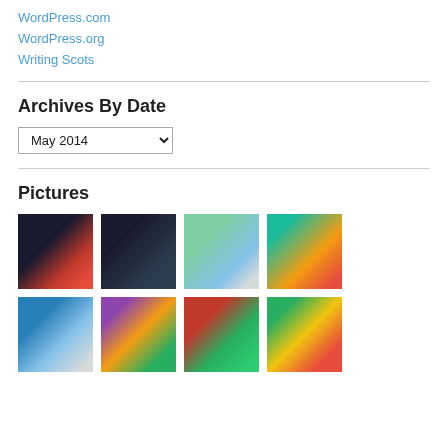WordPress.com
WordPress.org
Writing Scots
Archives By Date
May 2014 (dropdown)
Pictures
[Figure (photo): NASCAR race car (red) with driver celebrating]
[Figure (photo): Two people at a dark event]
[Figure (photo): Two elderly women outdoors]
[Figure (photo): Baseball player in red uniform with decorative orange/teal background]
[Figure (photo): Baseball player in white uniform with blue cap]
[Figure (photo): Yellow wildflowers and foliage]
[Figure (photo): Red lily flower among green plants]
[Figure (photo): Pink coneflowers in a garden]